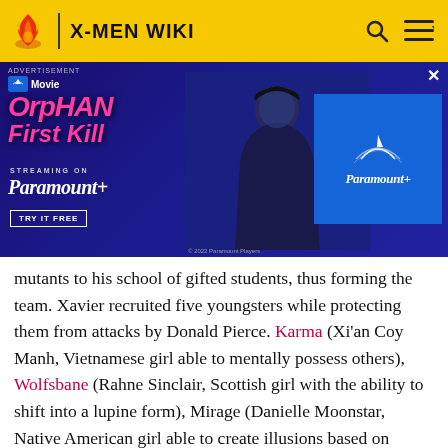X-MEN WIKI
[Figure (photo): Advertisement banner for 'Orphan: First Kill' streaming on Paramount+. Shows movie title in pink italic text, a person silhouette in dark background, and a Paramount+ logo on blue background. Includes 'TRY IT FREE' button.]
mutants to his school of gifted students, thus forming the team. Xavier recruited five youngsters while protecting them from attacks by Donald Pierce. Karma (Xi'an Coy Manh, Vietnamese girl able to mentally possess others), Wolfsbane (Rahne Sinclair, Scottish girl with the ability to shift into a lupine form), Mirage (Danielle Moonstar, Native American girl able to create illusions based on others greatest fears or wishes), Sunspot (Robert da Costa, Brazilian boy who gained strength due to solar energy),